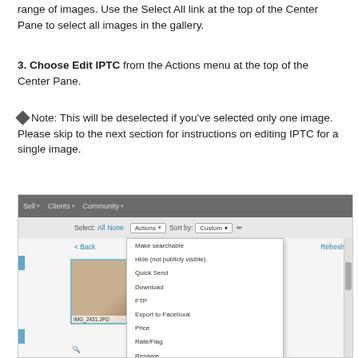range of images. Use the Select All link at the top of the Center Pane to select all images in the gallery.
3. Choose Edit IPTC from the Actions menu at the top of the Center Pane.
Note: This will be deselected if you've selected only one image. Please skip to the next section for instructions on editing IPTC for a single image.
[Figure (screenshot): Screenshot of a photo gallery web application showing the Actions dropdown menu open with 'Edit IPTC' highlighted and circled. The menu includes options: Make searchable, Hide (not publicly visible), Quick Send, Download, FTP, Export to Facebook, Price, Rate/Flag, Rename, Edit IPTC, Rotate, Set model/property release. Navigation bar shows Sell, Clients, Community menus. Toolbar shows Select All/None, Actions button, Sort by Custom.]